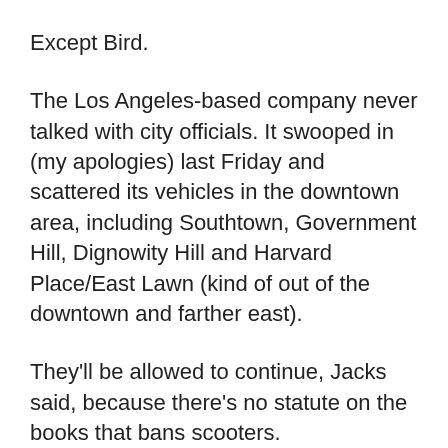Except Bird.
The Los Angeles-based company never talked with city officials. It swooped in (my apologies) last Friday and scattered its vehicles in the downtown area, including Southtown, Government Hill, Dignowity Hill and Harvard Place/East Lawn (kind of out of the downtown and farther east).
They'll be allowed to continue, Jacks said, because there's no statute on the books that bans scooters.
However, city crews have been scooping up some Bird scooters parked in the middle of sidewalks. They're gathering them up, rather